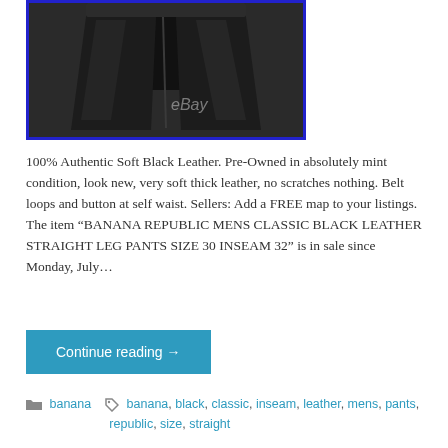[Figure (photo): Photo of black leather pants with blue border, eBay watermark visible]
100% Authentic Soft Black Leather. Pre-Owned in absolutely mint condition, look new, very soft thick leather, no scratches nothing. Belt loops and button at self waist. Sellers: Add a FREE map to your listings. The item “BANANA REPUBLIC MENS CLASSIC BLACK LEATHER STRAIGHT LEG PANTS SIZE 30 INSEAM 32” is in sale since Monday, July…
Continue reading →
banana  banana, black, classic, inseam, leather, mens, pants, republic, size, straight